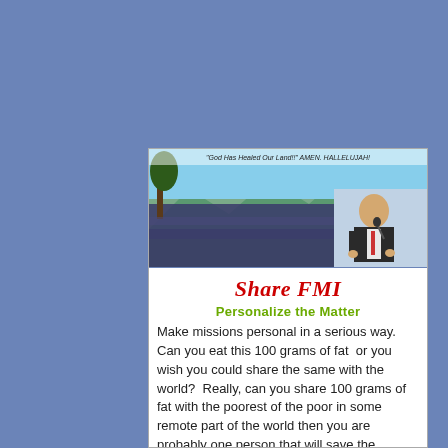[Figure (photo): Banner photo showing a large outdoor crowd gathered for a religious event, with a man in a suit speaking/reading at a podium on the right side. Text overlay reads 'God Has Healed Our Land!! AMEN. HALLELUJAH!']
Share FMI
Personalize the Matter
Make missions personal in a serious way. Can you eat this 100 grams of fat  or you wish you could share the same with the world?  Really, can you share 100 grams of fat with the poorest of the poor in some remote part of the world then you are probably one person that will save the